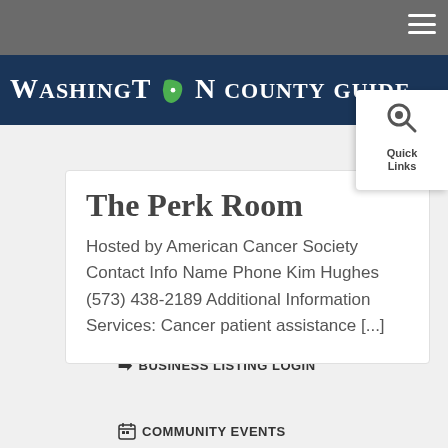Washington County Guide
The Perk Room
Hosted by American Cancer Society Contact Info Name Phone Kim Hughes (573) 438-2189 Additional Information Services: Cancer patient assistance [...]
+ ADD BUSINESS
➔ BUSINESS LISTING LOGIN
📅 COMMUNITY EVENTS